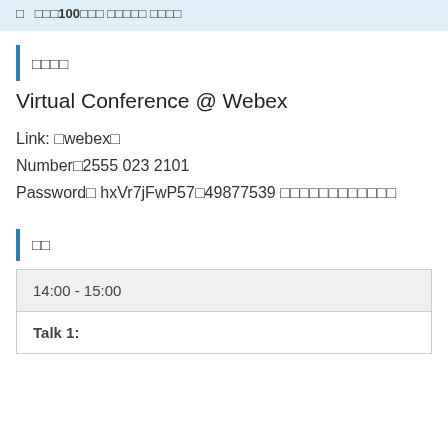□ □□□100□□□ □□□□□ □□□□
□□□□
Virtual Conference @ Webex
Link: □webex□
Number□2555 023 2101
Password□ hxVr7jFwP57□49877539 □□□□□□□□□□□□
□□
| 14:00 - 15:00 |
| Talk 1: |